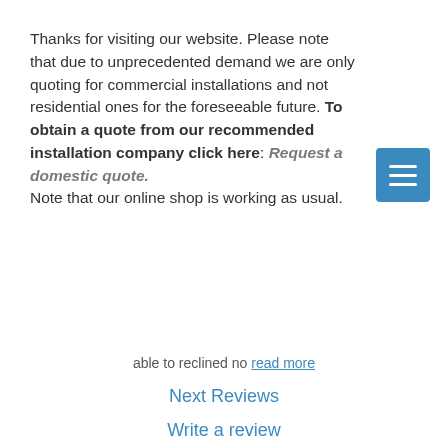Thanks for visiting our website. Please note that due to unprecedented demand we are only quoting for commercial installations and not residential ones for the foreseeable future. To obtain a quote from our recommended installation company click here: Request a domestic quote. Note that our online shop is working as usual.
able to reclined no read more
Next Reviews
Write a review
[Figure (logo): Circular red no-entry style logo with a bull/cow in the center and text curved along the top reading 'Solar without the bull!']